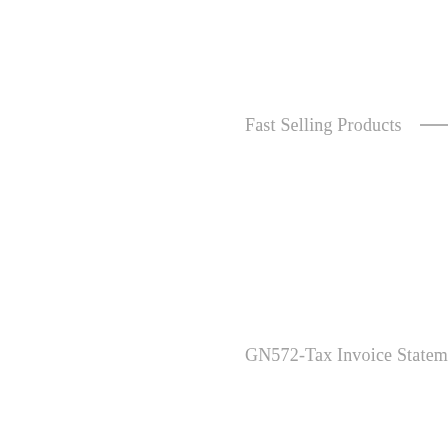Fast Selling Products
GN572-Tax Invoice Statement Bo